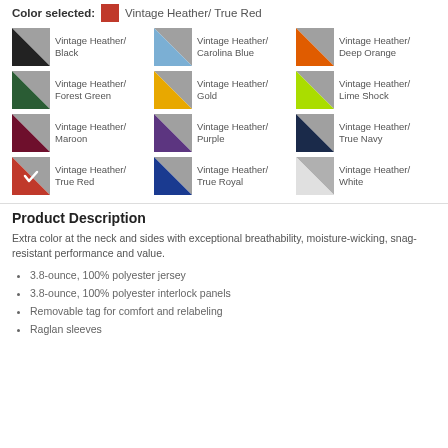Color selected: Vintage Heather/ True Red
[Figure (illustration): Grid of 12 color swatches for Vintage Heather combinations: Black, Carolina Blue, Deep Orange, Forest Green, Gold, Lime Shock, Maroon, Purple, True Navy, True Red (selected with checkmark), True Royal, White]
Product Description
Extra color at the neck and sides with exceptional breathability, moisture-wicking, snag-resistant performance and value.
3.8-ounce, 100% polyester jersey
3.8-ounce, 100% polyester interlock panels
Removable tag for comfort and relabeling
Raglan sleeves